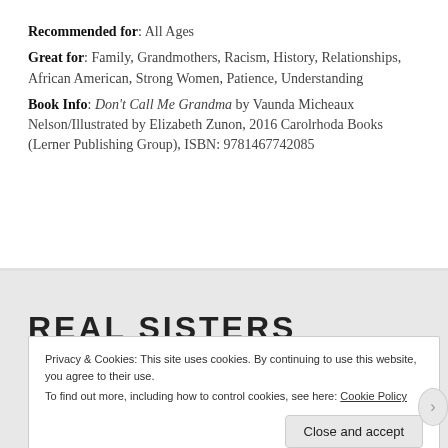Recommended for: All Ages
Great for: Family, Grandmothers, Racism, History, Relationships, African American, Strong Women, Patience, Understanding
Book Info: Don't Call Me Grandma by Vaunda Micheaux Nelson/Illustrated by Elizabeth Zunon, 2016 Carolrhoda Books (Lerner Publishing Group), ISBN: 9781467742085
REAL SISTERS PRETEND
Privacy & Cookies: This site uses cookies. By continuing to use this website, you agree to their use. To find out more, including how to control cookies, see here: Cookie Policy
Close and accept